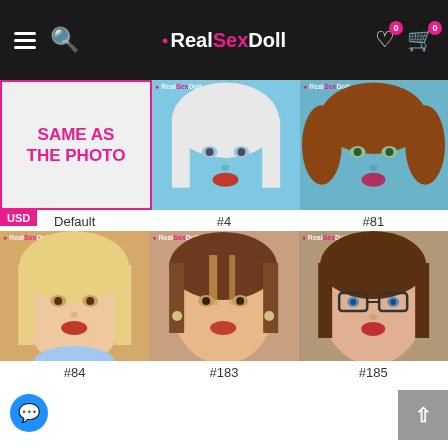RealSexDoll
[Figure (photo): Product selection grid showing doll head options. Row 1: Default (pink border placeholder), #4 (blue-skinned anime doll with white hair), #81 (blue-skinned doll with auburn curly hair). Row 2: #84 (blonde hair Asian doll), #183 (brunette highlighted bob doll), #185 (brunette doll with glasses).]
SAME AS THE PHOTO
Default
#4
#81
#84
#183
#185